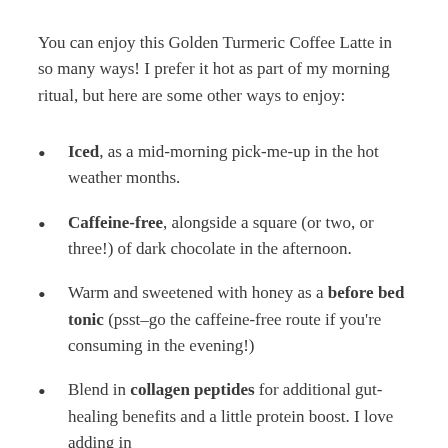You can enjoy this Golden Turmeric Coffee Latte in so many ways! I prefer it hot as part of my morning ritual, but here are some other ways to enjoy:
Iced, as a mid-morning pick-me-up in the hot weather months.
Caffeine-free, alongside a square (or two, or three!) of dark chocolate in the afternoon.
Warm and sweetened with honey as a before bed tonic (psst–go the caffeine-free route if you're consuming in the evening!)
Blend in collagen peptides for additional gut-healing benefits and a little protein boost. I love adding in